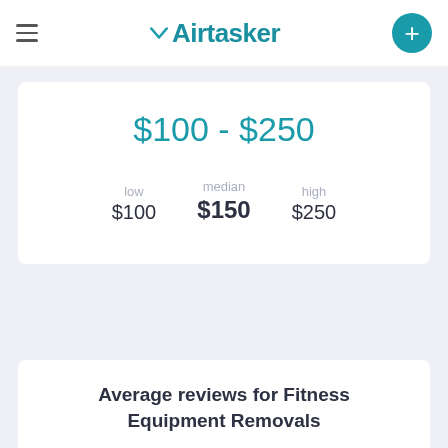Airtasker
$100 - $250
median $150 | low $100 | high $250
Average reviews for Fitness Equipment Removals